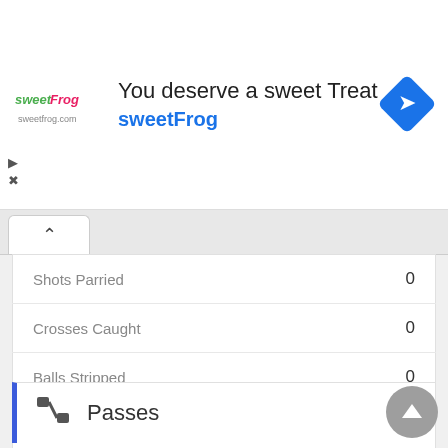[Figure (screenshot): sweetFrog advertisement banner with logo, text 'You deserve a sweet Treat' and 'sweetFrog', and a blue navigation arrow icon]
| Stat | Value |
| --- | --- |
| Shots Parried | 0 |
| Crosses Caught | 0 |
| Balls Stripped | 0 |
Passes
| Stat | Value |
| --- | --- |
| Assist | 0 |
| Key passes | 0 |